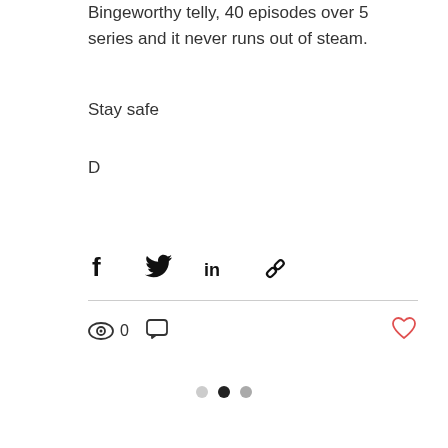Bingeworthy telly, 40 episodes over 5 series and it never runs out of steam.
Stay safe
D
[Figure (infographic): Social share icons: Facebook, Twitter, LinkedIn, Link/chain icon]
[Figure (infographic): View count (eye icon, 0), comment icon, and heart/like icon in red]
[Figure (infographic): Dot navigation: light gray dot, dark/black dot, gray dot]